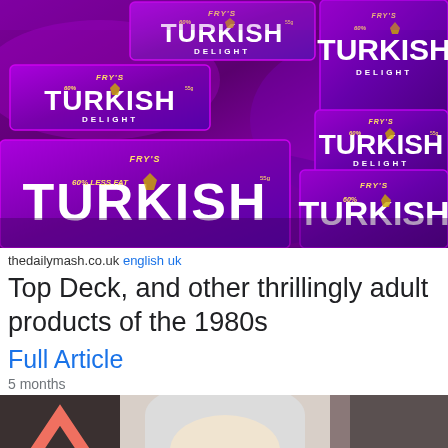[Figure (photo): Multiple purple Fry's Turkish Delight chocolate bar wrappers with white text reading TURKISH DELIGHT, FRY'S, and 60% LESS FAT stacked together]
thedailymash.co.uk english uk
Top Deck, and other thrillingly adult products of the 1980s
Full Article
5 months
[Figure (photo): Partial photo of a woman with platinum blonde hair at what appears to be a creative event, with a pink chevron/arrow visible on the left side and CREATIVE text partially visible on the right]